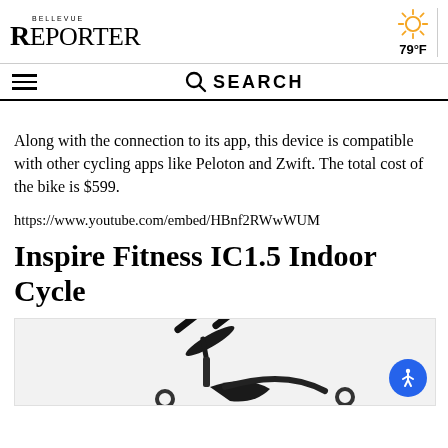BELLEVUE REPORTER
79°F
Along with the connection to its app, this device is compatible with other cycling apps like Peloton and Zwift. The total cost of the bike is $599.
https://www.youtube.com/embed/HBnf2RWwWUM
Inspire Fitness IC1.5 Indoor Cycle
[Figure (photo): Inspire Fitness IC1.5 Indoor Cycle exercise bike, black, partial view showing handlebars and frame]